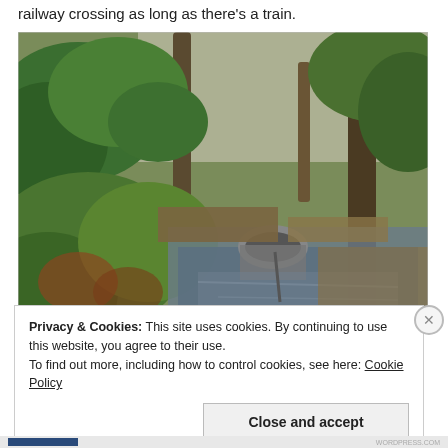railway crossing as long as there's a train.
[Figure (photo): Outdoor forest scene with a small stream or drainage ditch. A large concrete or metal pipe drain is visible near the water. Lush green vegetation, trees, and fallen leaves surround the area. A dirt path or road is visible in the background.]
Privacy & Cookies: This site uses cookies. By continuing to use this website, you agree to their use.
To find out more, including how to control cookies, see here: Cookie Policy
Close and accept